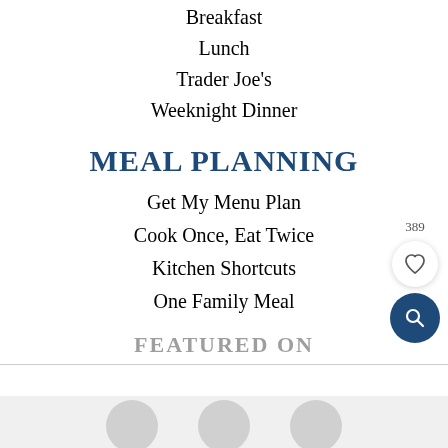Breakfast
Lunch
Trader Joe's
Weeknight Dinner
MEAL PLANNING
Get My Menu Plan
Cook Once, Eat Twice
Kitchen Shortcuts
One Family Meal
FEATURED ON
[Figure (other): Bottom strip with circular avatar images partially visible]